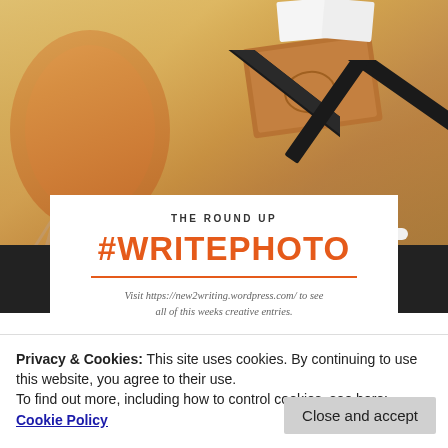[Figure (photo): Photo of a wooden desk with an orange chair, black rulers/set squares, a brown leather notebook, and a white pen]
THE ROUND UP
#WRITEPHOTO
Visit https://new2writing.wordpress.com/ to see all of this weeks creative entries.
Privacy & Cookies: This site uses cookies. By continuing to use this website, you agree to their use.
To find out more, including how to control cookies, see here:
Cookie Policy
Close and accept